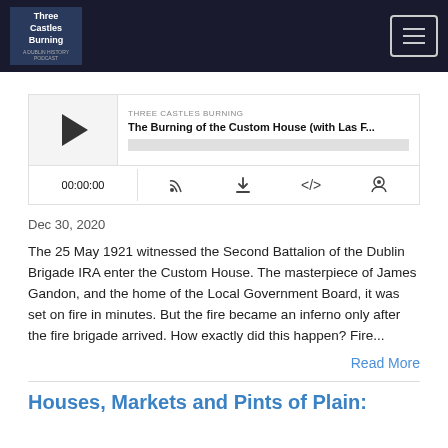Three Castles Burning
[Figure (screenshot): Podcast audio player for 'The Burning of the Custom House (with Las F...)' showing play button, progress bar, time 00:00:00, and control icons]
Dec 30, 2020
The 25 May 1921 witnessed the Second Battalion of the Dublin Brigade IRA enter the Custom House. The masterpiece of James Gandon, and the home of the Local Government Board, it was set on fire in minutes. But the fire became an inferno only after the fire brigade arrived. How exactly did this happen? Fire...
Read More
Houses, Markets and Pints of Plain: